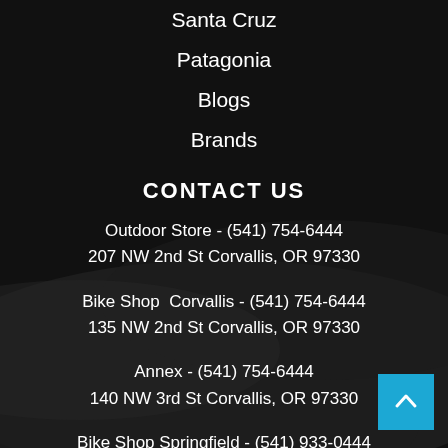Santa Cruz
Patagonia
Blogs
Brands
CONTACT US
Outdoor Store - (541) 754-6444
207 NW 2nd St Corvallis, OR 97330
Bike Shop  Corvallis - (541) 754-6444
135 NW 2nd St Corvallis, OR 97330
Annex - (541) 754-6444
140 NW 3rd St Corvallis, OR 97330
Bike Shop Springfield - (541) 933-0444